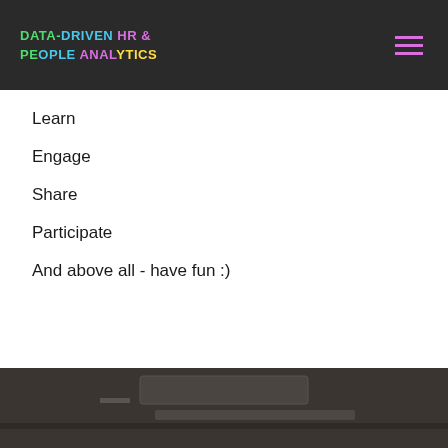DATA-DRIVEN HR & PEOPLE ANALYTICS
Learn
Engage
Share
Participate
And above all - have fun :)
[Figure (photo): Dark background bottom section showing what appears to be the edge of a laptop or tablet device on a dark surface]